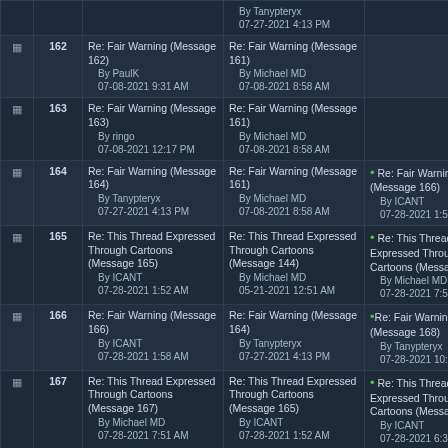| # | Message | Replying To | Next Reply |
| --- | --- | --- | --- |
| 162 | Re: Fair Warning (Message 162)
By PaulK
07-08-2021 9:31 AM | Re: Fair Warning (Message 161)
By Michael MD
07-08-2021 8:58 AM |  |
| 163 | Re: Fair Warning (Message 163)
By ringo
07-08-2021 12:17 PM | Re: Fair Warning (Message 161)
By Michael MD
07-08-2021 8:58 AM |  |
| 164 | Re: Fair Warning (Message 164)
By Tanypteryx
07-27-2021 4:13 PM | Re: Fair Warning (Message 161)
By Michael MD
07-08-2021 8:58 AM | Re: Fair Warning (Message 166)
By ICANT
07-28-2021 1:58 A |
| 165 | Re: This Thread Expressed Through Cartoons (Message 165)
By ICANT
07-28-2021 1:52 AM | Re: This Thread Expressed Through Cartoons (Message 144)
By Michael MD
05-21-2021 12:51 AM | Re: This Thread Expressed Through Cartoons (Message 167)
By Michael MD
07-28-2021 7:51 A |
| 166 | Re: Fair Warning (Message 166)
By ICANT
07-28-2021 1:58 AM | Re: Fair Warning (Message 164)
By Tanypteryx
07-27-2021 4:13 PM | Re: Fair Warning (Message 168)
By Tanypteryx
07-28-2021 10:38 A |
| 167 | Re: This Thread Expressed Through Cartoons (Message 167)
By Michael MD
07-28-2021 7:51 AM | Re: This Thread Expressed Through Cartoons (Message 165)
By ICANT
07-28-2021 1:52 AM | Re: This Thread Expressed Through Cartoons (Message 170)
By ICANT
07-28-2021 6:37 P
Re: This Thread Expressed Throu |